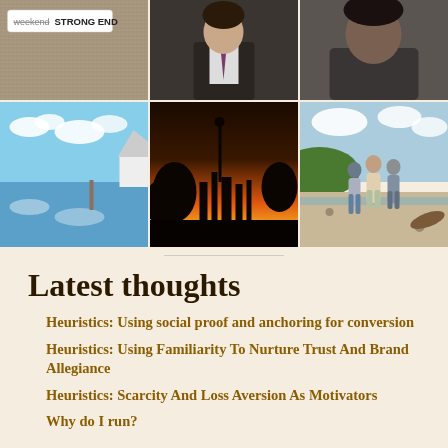[Figure (photo): 3x2 grid of photos: top row has a textured surface with 'weekend STRONG END' label, a man in suit and tie, a man in dark t-shirt; bottom row has a calm lake with blue sky and clouds, a city skyline silhouette at sunset with orange sky, and three people standing on a beach]
Latest thoughts
Heuristics: Using social proof and anchoring for conversion
Heuristics: Using Familiarity To Nurture Trust And Brand Allegiance
Heuristics: Scarcity And Loss Aversion As Motivators
Why do I run?